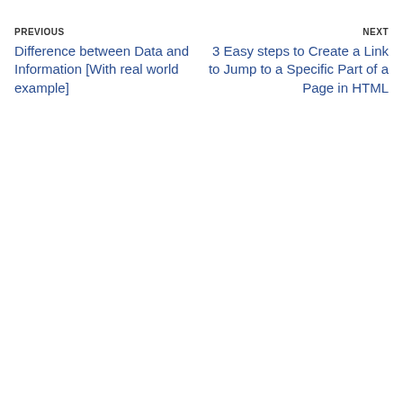PREVIOUS
Difference between Data and Information [With real world example]
NEXT
3 Easy steps to Create a Link to Jump to a Specific Part of a Page in HTML